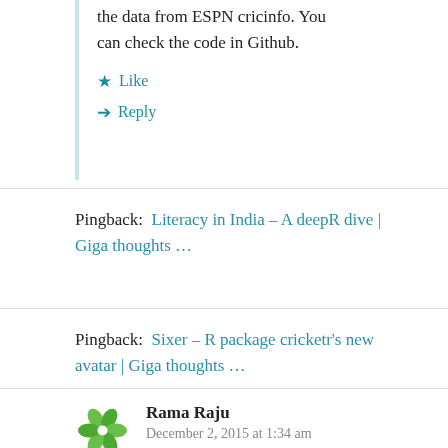the data from ESPN cricinfo. You can check the code in Github.
Like
Reply
Pingback:  Literacy in India – A deepR dive | Giga thoughts …
Pingback:  Sixer – R package cricketr's new avatar | Giga thoughts …
Rama Raju
December 2, 2015 at 1:34 am